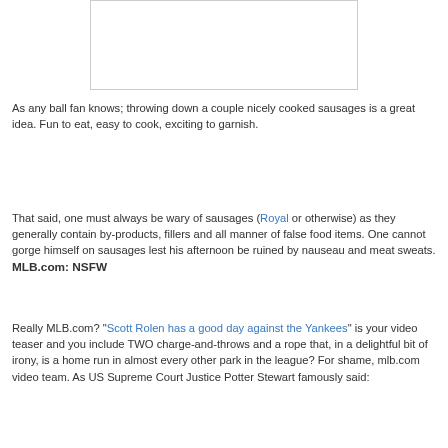[Figure (other): White rectangular image box with border]
As any ball fan knows; throwing down a couple nicely cooked sausages is a great idea. Fun to eat, easy to cook, exciting to garnish.
That said, one must always be wary of sausages (Royal or otherwise) as they generally contain by-products, fillers and all manner of false food items. One cannot gorge himself on sausages lest his afternoon be ruined by nauseau and meat sweats.
MLB.com: NSFW
Really MLB.com? "Scott Rolen has a good day against the Yankees" is your video teaser and you include TWO charge-and-throws and a rope that, in a delightful bit of irony, is a home run in almost every other park in the league? For shame, mlb.com video team. As US Supreme Court Justice Potter Stewart famously said: